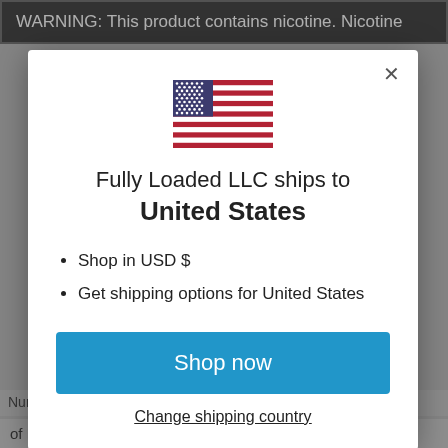WARNING: This product contains nicotine. Nicotine
[Figure (illustration): US flag emoji / image centered at top of modal dialog]
Fully Loaded LLC ships to
United States
Shop in USD $
Get shipping options for United States
Shop now
Change shipping country
Number of Fully Loaded chew for free, not to